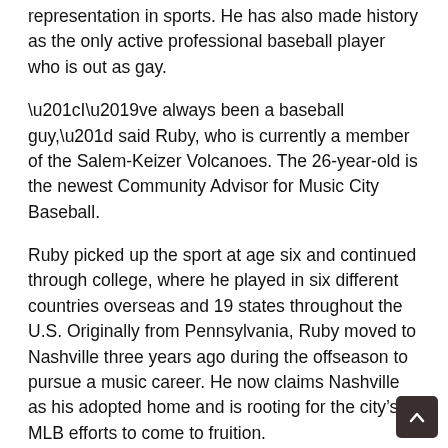representation in sports. He has also made history as the only active professional baseball player who is out as gay.
“I’ve always been a baseball guy,” said Ruby, who is currently a member of the Salem-Keizer Volcanoes. The 26-year-old is the newest Community Advisor for Music City Baseball.
Ruby picked up the sport at age six and continued through college, where he played in six different countries overseas and 19 states throughout the U.S. Originally from Pennsylvania, Ruby moved to Nashville three years ago during the offseason to pursue a music career. He now claims Nashville as his adopted home and is rooting for the city’s MLB efforts to come to fruition.